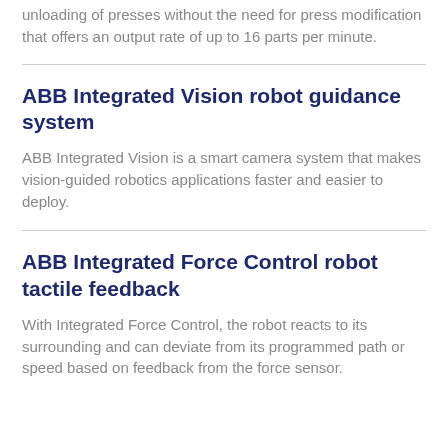unloading of presses without the need for press modification that offers an output rate of up to 16 parts per minute.
ABB Integrated Vision robot guidance system
ABB Integrated Vision is a smart camera system that makes vision-guided robotics applications faster and easier to deploy.
ABB Integrated Force Control robot tactile feedback
With Integrated Force Control, the robot reacts to its surrounding and can deviate from its programmed path or speed based on feedback from the force sensor.